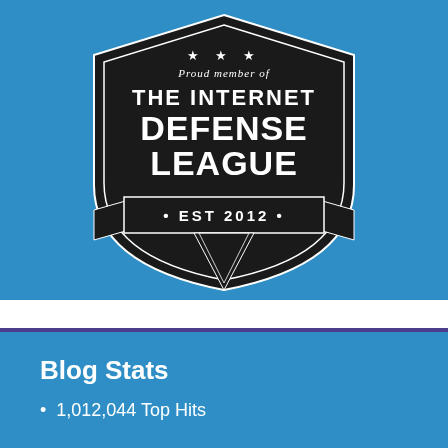[Figure (logo): Shield badge logo for The Internet Defense League — black shield shape with white text: 'Proud member of THE INTERNET DEFENSE LEAGUE • EST 2012 •', with banner ribbon and stars.]
Blog Stats
1,012,044 Top Hits